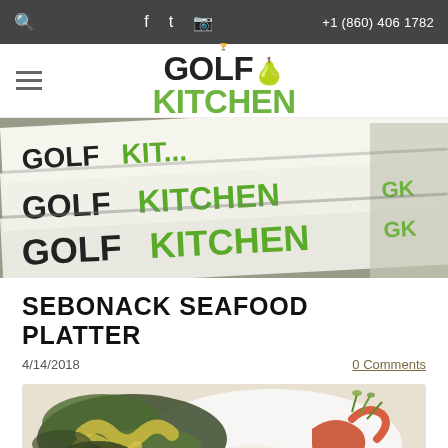+1 (860) 406 1782
[Figure (logo): Golf Kitchen logo with golf club icon between GOLF and KITCHEN text]
[Figure (photo): Stacked Golf Kitchen books showing the title text GOLF KITCHEN in white and green on the covers]
SEBONACK SEAFOOD PLATTER
4/14/2018
0 Comments
[Figure (photo): Sebonack seafood platter food photo showing grilled vegetables and shrimp/lobster on a white plate]